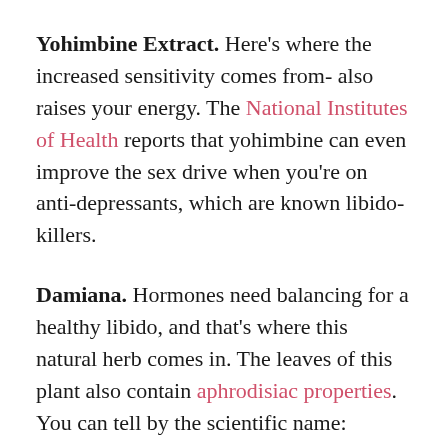Yohimbine Extract. Here's where the increased sensitivity comes from- also raises your energy. The National Institutes of Health reports that yohimbine can even improve the sex drive when you're on anti-depressants, which are known libido-killers.
Damiana. Hormones need balancing for a healthy libido, and that's where this natural herb comes in. The leaves of this plant also contain aphrodisiac properties. You can tell by the scientific name: